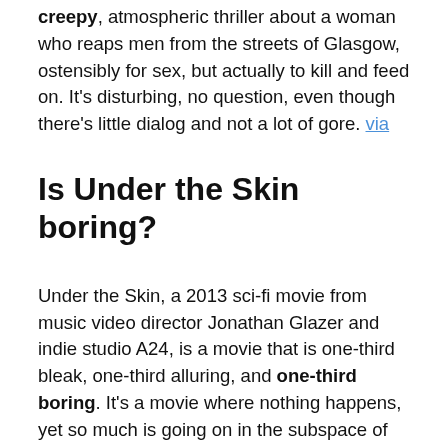creepy, atmospheric thriller about a woman who reaps men from the streets of Glasgow, ostensibly for sex, but actually to kill and feed on. It's disturbing, no question, even though there's little dialog and not a lot of gore. via
Is Under the Skin boring?
Under the Skin, a 2013 sci-fi movie from music video director Jonathan Glazer and indie studio A24, is a movie that is one-third bleak, one-third alluring, and one-third boring. It's a movie where nothing happens, yet so much is going on in the subspace of its storytelling. via
What is the rating for Under the